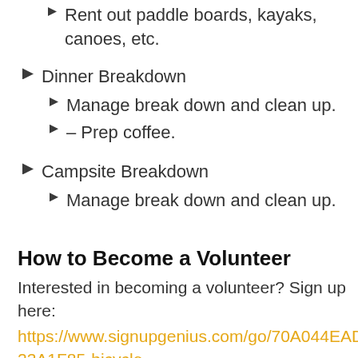Rent out paddle boards, kayaks, canoes, etc.
Dinner Breakdown
Manage break down and clean up.
– Prep coffee.
Campsite Breakdown
Manage break down and clean up.
How to Become a Volunteer
Interested in becoming a volunteer? Sign up here: https://www.signupgenius.com/go/70A044EADA623A1F85-bicycle